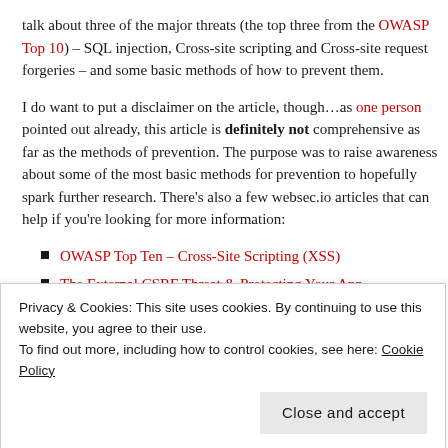talk about three of the major threats (the top three from the OWASP Top 10) – SQL injection, Cross-site scripting and Cross-site request forgeries – and some basic methods of how to prevent them.
I do want to put a disclaimer on the article, though…as one person pointed out already, this article is definitely not comprehensive as far as the methods of prevention. The purpose was to raise awareness about some of the most basic methods for prevention to hopefully spark further research. There's also a few websec.io articles that can help if you're looking for more information:
OWASP Top Ten – Cross-Site Scripting (XSS)
The External CSRF Threat & Protecting Your App
SOLi in NoSOL – A Word of Warning
Privacy & Cookies: This site uses cookies. By continuing to use this website, you agree to their use. To find out more, including how to control cookies, see here: Cookie Policy
Close and accept